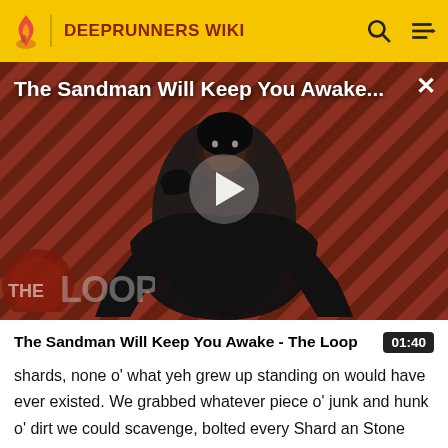DEEPRUNNERS WIKI
[Figure (screenshot): Video thumbnail showing a dark figure in black robes against a diagonal red and black striped background, with 'THE LOOP' watermark in lower left, a white play button in center, and title 'The Sandman Will Keep You Awake...' overlaid at top]
The Sandman Will Keep You Awake - The Loop
shards, none o' what yeh grew up standing on would have ever existed. We grabbed whatever piece o' junk and hunk o' dirt we could scavenge, bolted every Shard an Stone